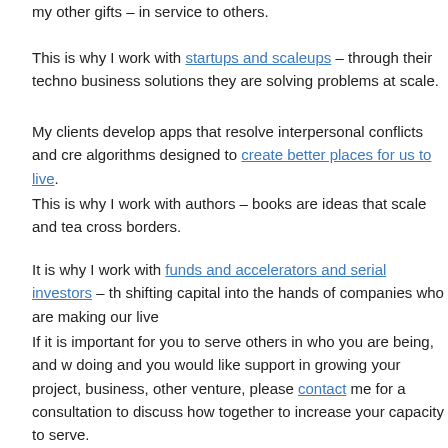my other gifts – in service to others.
This is why I work with startups and scaleups – through their techno business solutions they are solving problems at scale.
My clients develop apps that resolve interpersonal conflicts and cre algorithms designed to create better places for us to live.
This is why I work with authors – books are ideas that scale and tea cross borders.
It is why I work with funds and accelerators and serial investors – th shifting capital into the hands of companies who are making our live
If it is important for you to serve others in who you are being, and w doing and you would like support in growing your project, business, other venture, please contact me for a consultation to discuss how together to increase your capacity to serve.